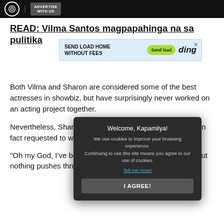ABS-CBN | ADVERTISE WITH US
READ: Vilma Santos magpapahinga na sa pulitika
[Figure (screenshot): Advertisement banner: SEND LOAD HOME WITHOUT FEES, Send load button, ding logo]
Both Vilma and Sharon are considered some of the best actresses in showbiz, but have surprisingly never worked on an acting project together.
[Figure (screenshot): Cookie consent modal: Welcome, Kapamilya! We use cookies to improve your browsing experience. Continuing to use this site means you agree to our use of cookies. Tell me more! I AGREE! button]
Nevertheless, Sharon said that she loves Vilma, and has in fact requested to work with other screen icons.
"Oh my God, I've been requesting...Yes, I've requested. But nothing pushes through," she said.